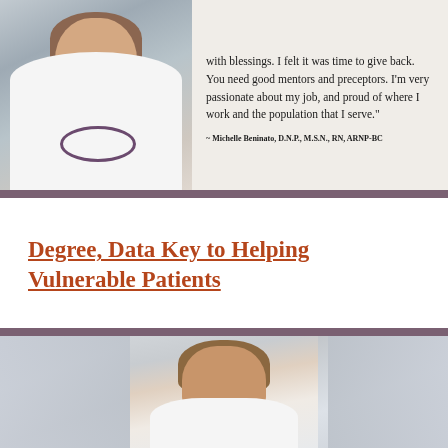[Figure (photo): Photo of a female medical professional in a white coat with a stethoscope, smiling, arms crossed]
with blessings. I felt it was time to give back. You need good mentors and preceptors. I'm very passionate about my job, and proud of where I work and the population that I serve."
~ Michelle Beninato, D.N.P., M.S.N., RN, ARNP-BC
Degree, Data Key to Helping Vulnerable Patients
[Figure (photo): Photo of a female medical professional with short brown hair wearing a white coat, smiling]